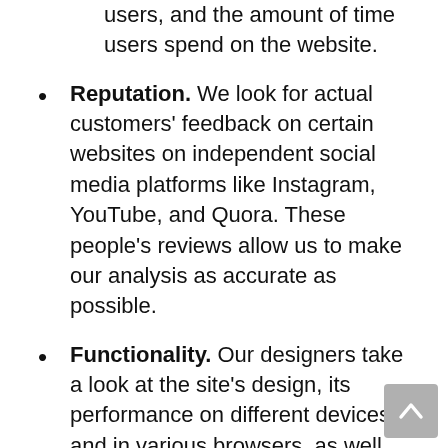users, and the amount of time users spend on the website.
Reputation. We look for actual customers' feedback on certain websites on independent social media platforms like Instagram, YouTube, and Quora. These people's reviews allow us to make our analysis as accurate as possible.
Functionality. Our designers take a look at the site's design, its performance on different devices and in various browsers, as well as check whether all the features properly work.
Users' quality. We browse the girls on the website to see whether those cuties are actually real users since you don't want to fall in love with a person who doesn't exist.
Response rate. Our analytics and sociologists also sign up on the sites we are reviewing and communicate with the women there in order to